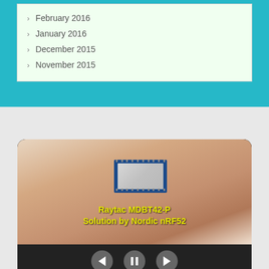> February 2016
> January 2016
> December 2015
> November 2015
[Figure (photo): Video player showing a small Raytac MDBT42-P Bluetooth module (Nordic nRF52 solution) resting on a fingertip. The module has a blue PCB with silver metal shielding and gold pads. Yellow text overlay reads 'Raytac MDBT42-P Solution by Nordic nRF52'. Below the video are playback controls: back, pause, and forward buttons.]